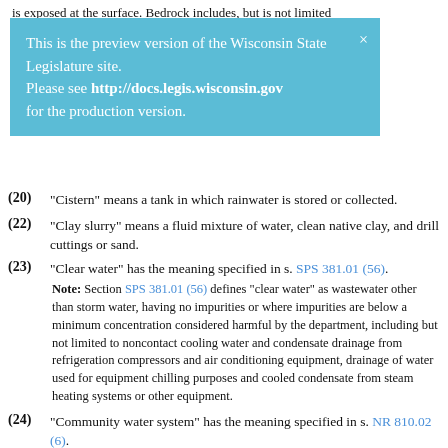is exposed at the surface. Bedrock includes, but is not limited to limestone (dolomite), sandstone, shale and igneous and
This is the preview version of the Wisconsin State Legislature site. Please see http://docs.legis.wisconsin.gov for the production version.
(20) "Cistern" means a tank in which rainwater is stored or collected.
(22) "Clay slurry" means a fluid mixture of water, clean native clay, and drill cuttings or sand.
(23) "Clear water" has the meaning specified in s. SPS 381.01 (56).
Note: Section SPS 381.01 (56) defines “clear water” as wastewater other than storm water, having no impurities or where impurities are below a minimum concentration considered harmful by the department, including but not limited to noncontact cooling water and condensate drainage from refrigeration compressors and air conditioning equipment, drainage of water used for equipment chilling purposes and cooled condensate from steam heating systems or other equipment.
(24) “Community water system” has the meaning specified in s. NR 810.02 (6).
Note: Section NR 810.02 (6) defines “community water system” as a public water system which serves at least 15 service connections used by year-round residents or regularly serves at least 25 ye…